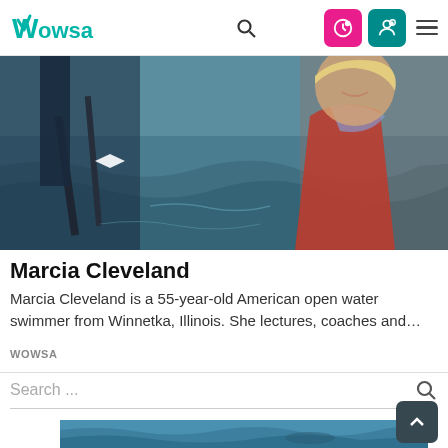WOWSA navigation bar with logo, search icon, login button, user button, and menu
[Figure (photo): Outdoor open water scene showing a person in a red life vest near sailing/rowing equipment on choppy blue-grey water, cropped at top]
Marcia Cleveland
Marcia Cleveland is a 55-year-old American open water swimmer from Winnetka, Illinois. She lectures, coaches and…
WOWSA
[Figure (screenshot): Search bar with placeholder text 'Search ...' and a search icon on the right, with a horizontal rule below]
[Figure (photo): Partial underwater or water surface image at the bottom of the page, blue tones]